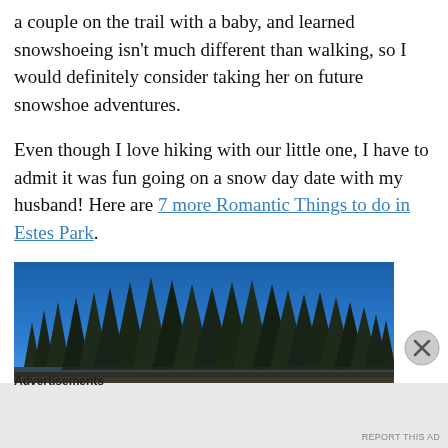a couple on the trail with a baby, and learned snowshoeing isn't much different than walking, so I would definitely consider taking her on future snowshoe adventures.
Even though I love hiking with our little one, I have to admit it was fun going on a snow day date with my husband! Here are 7 more Romantic Things to do in Estes Park.
[Figure (photo): Panoramic photograph of a treeline of tall evergreen pine trees against a clear deep blue sky, likely taken in a snowy mountain area near Estes Park.]
Advertisements